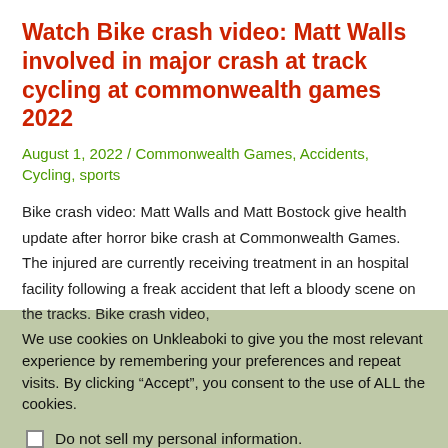Watch Bike crash video: Matt Walls involved in major crash at track cycling at commonwealth games 2022
August 1, 2022 / Commonwealth Games, Accidents, Cycling, sports
Bike crash video: Matt Walls and Matt Bostock give health update after horror bike crash at Commonwealth Games. The injured are currently receiving treatment in an hospital facility following a freak accident that left a bloody scene on the tracks. Bike crash video,
We use cookies on Unkleaboki to give you the most relevant experience by remembering your preferences and repeat visits. By clicking “Accept”, you consent to the use of ALL the cookies.
Do not sell my personal information.
Cookie settings | ACCEPT